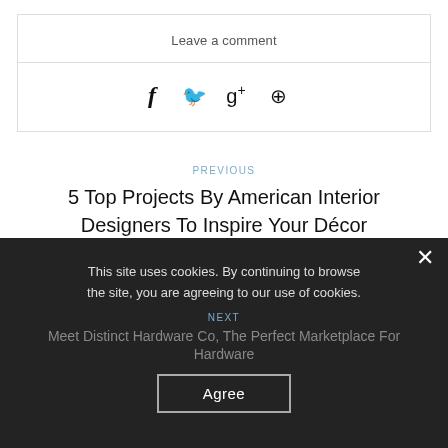Leave a comment
[Figure (other): Social media share icons: Facebook, Twitter, Google+, Pinterest]
PREVIOUS
5 Top Projects By American Interior Designers To Inspire Your Décor
This site uses cookies. By continuing to browse the site, you are agreeing to our use of cookies.
NEXT
Meet Distinct Hardware Co, The Perfect Marketplace For Hardware
Agree